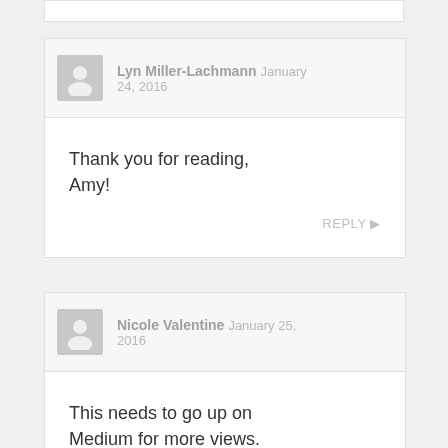Lyn Miller-Lachmann  January 24, 2016
Thank you for reading, Amy!
REPLY ▶
Nicole Valentine  January 25, 2016
This needs to go up on Medium for more views.